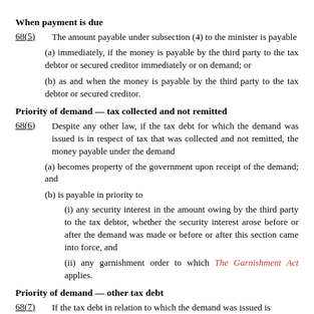When payment is due
68(5)      The amount payable under subsection (4) to the minister is payable
(a) immediately, if the money is payable by the third party to the tax debtor or secured creditor immediately or on demand; or
(b) as and when the money is payable by the third party to the tax debtor or secured creditor.
Priority of demand — tax collected and not remitted
68(6)      Despite any other law, if the tax debt for which the demand was issued is in respect of tax that was collected and not remitted, the money payable under the demand
(a) becomes property of the government upon receipt of the demand; and
(b) is payable in priority to
(i) any security interest in the amount owing by the third party to the tax debtor, whether the security interest arose before or after the demand was made or before or after this section came into force, and
(ii) any garnishment order to which The Garnishment Act applies.
Priority of demand — other tax debt
68(7)      If the tax debt in relation to which the demand was issued is